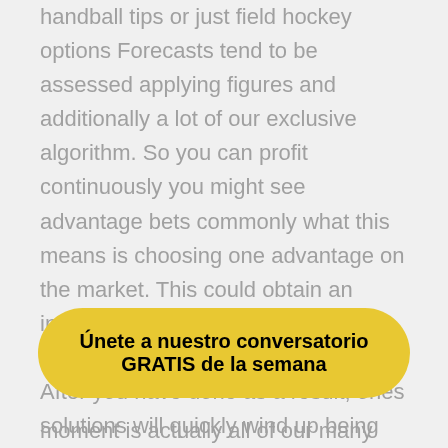handball tips or just field hockey options Forecasts tend to be assessed applying figures and additionally a lot of our exclusive algorithm. So you can profit continuously you might see advantage bets commonly what this means is choosing one advantage on the market. This could obtain an individual to verify an individual's PayPal akun as a result of hauling in. After you have done as a result, ones solutions will quickly wind up being transmitted out of PayPal straight into your current web-based bookmaker profile, meant for one you to ultimately start off wagering with. Much of our network associated with the game of basketball tipsters publish 100 % free
Únete a nuestro conversatorio GRATIS de la semana
moment is actually all of our many